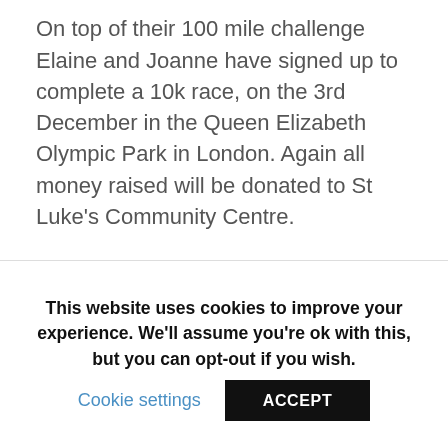On top of their 100 mile challenge Elaine and Joanne have signed up to complete a 10k race, on the 3rd December in the Queen Elizabeth Olympic Park in London. Again all money raised will be donated to St Luke's Community Centre.
This website uses cookies to improve your experience. We'll assume you're ok with this, but you can opt-out if you wish.
Cookie settings
ACCEPT